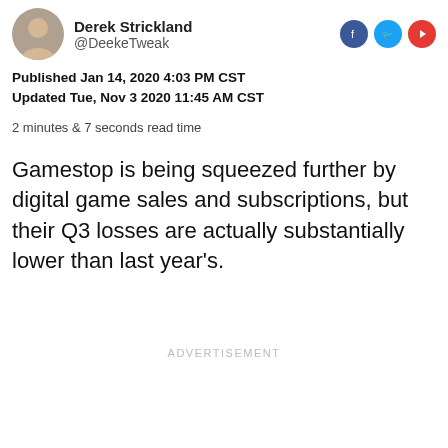Derek Strickland @DeekeTweak
Published Jan 14, 2020 4:03 PM CST
Updated Tue, Nov 3 2020 11:45 AM CST
2 minutes & 7 seconds read time
Gamestop is being squeezed further by digital game sales and subscriptions, but their Q3 losses are actually substantially lower than last year's.
ADVERTISEMENT